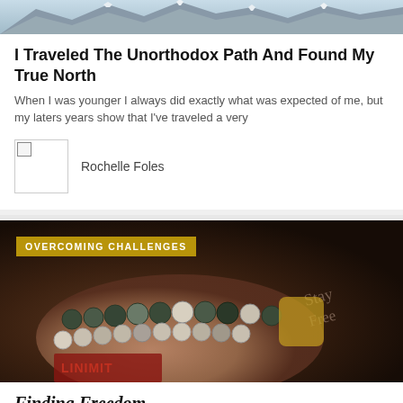[Figure (photo): Mountain landscape photo at top of page, snowy peaks]
I Traveled The Unorthodox Path And Found My True North
When I was younger I always did exactly what was expected of me, but my laters years show that I've traveled a very
Rochelle Foles
[Figure (photo): Close-up photo of hand with tattoo reading 'Stay Free' and prayer beads/mala beads, with OVERCOMING CHALLENGES category badge overlay]
Finding Freedom
Just over a year ago, before I left for study abroad, my twin